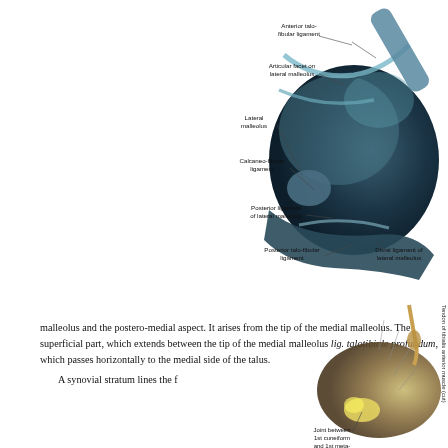[Figure (illustration): Anatomical illustration of the ankle joint viewed from the posterior-lateral side, showing ligaments including: Anterior talo-fibular ligament, Articular facet on lateral malleolus, Lateral malleolus, Calcaneo-fibular ligament, Posterior ligament of lateral malleolus, Posterior talo-fibular ligament, Distal ligament of lateral malleolus.]
malleolus and the postero-medial aspect. It arises from the tip of the medial malleolus. The superficial part, which extends between the tip of the medial malleolus lig. talotibiale profundum, which passes horizontally to the medial side of the talus.
A synovial stratum lines the fibrous capsule.
[Figure (illustration): Anatomical illustration of a cross-section or lateral view of the foot showing tendons and joints including: Tendon of tibialis anterior muscle (cut), Joint between 1st cuneiform and 1st metatarsal, and other labeled structures.]